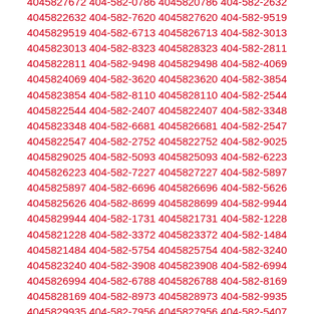4045823708 404-582-6299 4045826299 404-582-1816 4045821816 404-582-0356 4045820356 404-582-7672 4045827672 404-582-0786 4045820786 404-582-2632 4045822632 404-582-7620 4045827620 404-582-9519 4045829519 404-582-6713 4045826713 404-582-3013 4045823013 404-582-8323 4045828323 404-582-2811 4045822811 404-582-9498 4045829498 404-582-4069 4045824069 404-582-3620 4045823620 404-582-3854 4045823854 404-582-8110 4045828110 404-582-2544 4045822544 404-582-2407 4045822407 404-582-3348 4045823348 404-582-6681 4045826681 404-582-2547 4045822547 404-582-2752 4045822752 404-582-9025 4045829025 404-582-5093 4045825093 404-582-6223 4045826223 404-582-7227 4045827227 404-582-5897 4045825897 404-582-6696 4045826696 404-582-5626 4045825626 404-582-8699 4045828699 404-582-9944 4045829944 404-582-1731 4045821731 404-582-1228 4045821228 404-582-3372 4045823372 404-582-1484 4045821484 404-582-5754 4045825754 404-582-3240 4045823240 404-582-3908 4045823908 404-582-6994 4045826994 404-582-6788 4045826788 404-582-8169 4045828169 404-582-8973 4045828973 404-582-9935 4045829935 404-582-7956 4045827956 404-582-5407 4045825407 404-582-8217 4045828217 404-582-0867 4045820867 404-582-1157 4045821157 404-582-3536